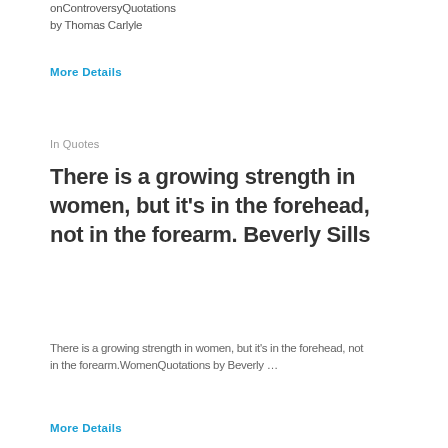onControversyQuotations by Thomas Carlyle
More Details
In Quotes
There is a growing strength in women, but it's in the forehead, not in the forearm. Beverly Sills
There is a growing strength in women, but it's in the forehead, not in the forearm.WomenQuotations by Beverly …
More Details